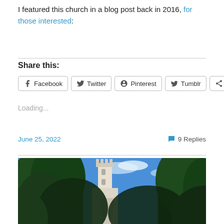I featured this church in a blog post back in 2016, for those interested:
Share this:
Facebook  Twitter  Pinterest  Tumblr  More
Loading...
June 25, 2022   9 Replies
[Figure (photo): Photograph of a church tower visible through green trees against a blue sky]